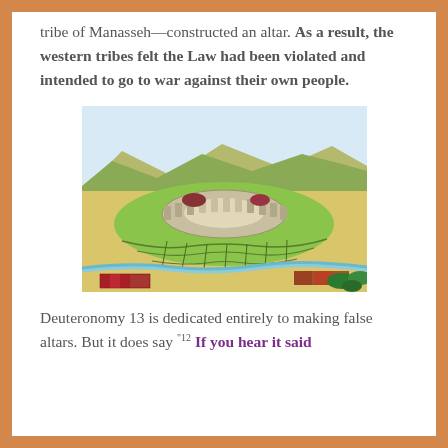tribe of Manasseh—constructed an altar. As a result, the western tribes felt the Law had been violated and intended to go to war against their own people.
[Figure (illustration): An aerial-view illustration of an ancient circular walled compound or city on a raised mound/hill, surrounded by terraced slopes, with a river visible in the foreground, fields of crops, and desert-like terrain under a light blue sky with distant mountains.]
Deuteronomy 13 is dedicated entirely to making false altars. But it does say "12 If you hear it said